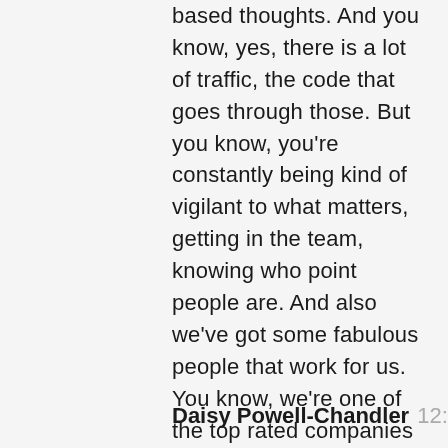based thoughts. And you know, yes, there is a lot of traffic, the code that goes through those. But you know, you're constantly being kind of vigilant to what matters, getting in the team, knowing who point people are. And also we've got some fabulous people that work for us. You know, we're one of the top rated companies on Glassdoor, and we've been able to attract some incredible caliber of people. So when you're, in the lucky position that I am, that you get to work with people at the kind of top of their game, like fast tracking to what matters becomes becomes really, really at the heart of what we have to do.
Daisy Powell-Chandler 12:13